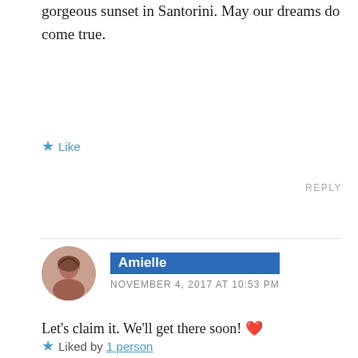gorgeous sunset in Santorini. May our dreams do come true.
★ Like
REPLY
Amielle
NOVEMBER 4, 2017 AT 10:53 PM
Let's claim it. We'll get there soon! ❤️
★ Liked by 1 person